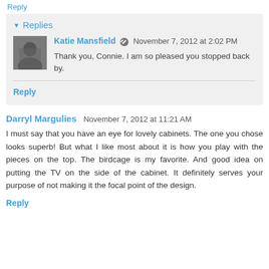Reply
Replies
Katie Mansfield  November 7, 2012 at 2:02 PM
Thank you, Connie. I am so pleased you stopped back by.
Reply
Darryl Margulies  November 7, 2012 at 11:21 AM
I must say that you have an eye for lovely cabinets. The one you chose looks superb! But what I like most about it is how you play with the pieces on the top. The birdcage is my favorite. And good idea on putting the TV on the side of the cabinet. It definitely serves your purpose of not making it the focal point of the design.
Reply